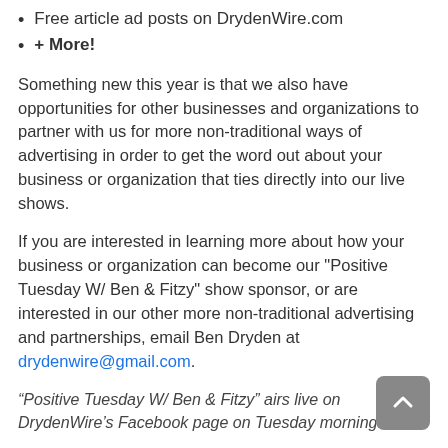Free article ad posts on DrydenWire.com
+ More!
Something new this year is that we also have opportunities for other businesses and organizations to partner with us for more non-traditional ways of advertising in order to get the word out about your business or organization that ties directly into our live shows.
If you are interested in learning more about how your business or organization can become our "Positive Tuesday W/ Ben & Fitzy" show sponsor, or are interested in our other more non-traditional advertising and partnerships, email Ben Dryden at drydenwire@gmail.com.
“Positive Tuesday W/ Ben & Fitzy” airs live on DrydenWire’s Facebook page on Tuesday mornings at